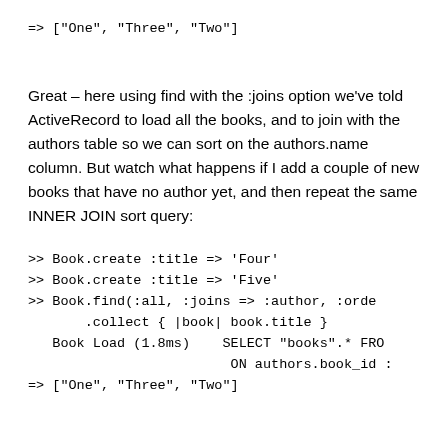=> ["One", "Three", "Two"]
Great – here using find with the :joins option we've told ActiveRecord to load all the books, and to join with the authors table so we can sort on the authors.name column. But watch what happens if I add a couple of new books that have no author yet, and then repeat the same INNER JOIN sort query:
>> Book.create :title => 'Four'
>> Book.create :title => 'Five'
>> Book.find(:all, :joins => :author, :ord
       .collect { |book| book.title }
   Book Load (1.8ms)    SELECT "books".* FR
                              ON authors.book_id :
=> ["One", "Three", "Two"]